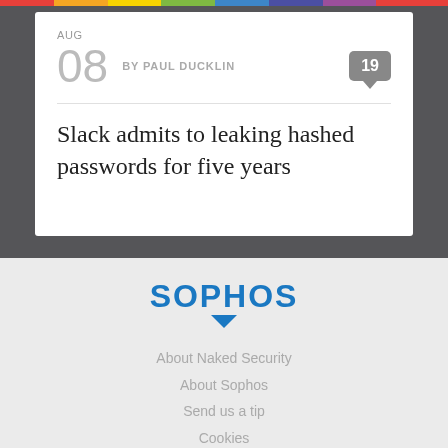AUG
08  BY PAUL DUCKLIN  19
Slack admits to leaking hashed passwords for five years
[Figure (logo): Sophos logo in blue with downward pointing triangle arrow below]
About Naked Security
About Sophos
Send us a tip
Cookies